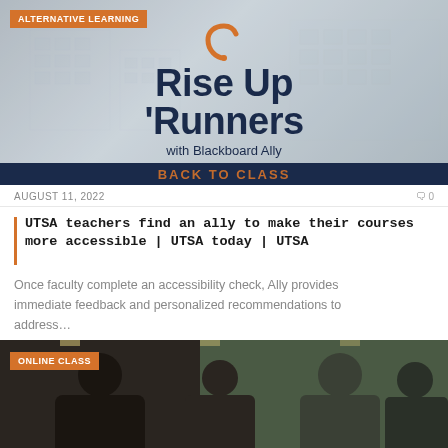[Figure (illustration): Hero banner for 'Rise Up Runners with Blackboard Ally – Back to Class' with campus building background, orange boomerang logo, and dark navy text. Orange badge reading 'ALTERNATIVE LEARNING' in top left.]
AUGUST 11, 2022
UTSA teachers find an ally to make their courses more accessible | UTSA today | UTSA
Once faculty complete an accessibility check, Ally provides immediate feedback and personalized recommendations to address…
[Figure (photo): Photo of two people talking in what appears to be a university building interior. Orange badge reading 'ONLINE CLASS' in top left corner.]